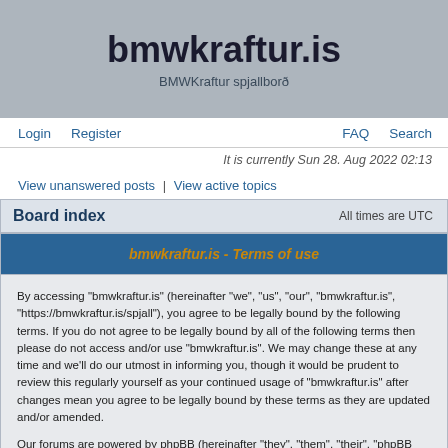bmwkraftur.is
BMWKraftur spjallborð
Login  Register  FAQ  Search
It is currently Sun 28. Aug 2022 02:13
View unanswered posts | View active topics
Board index  All times are UTC
bmwkraftur.is - Terms of use
By accessing "bmwkraftur.is" (hereinafter "we", "us", "our", "bmwkraftur.is", "https://bmwkraftur.is/spjall"), you agree to be legally bound by the following terms. If you do not agree to be legally bound by all of the following terms then please do not access and/or use "bmwkraftur.is". We may change these at any time and we'll do our utmost in informing you, though it would be prudent to review this regularly yourself as your continued usage of "bmwkraftur.is" after changes mean you agree to be legally bound by these terms as they are updated and/or amended.
Our forums are powered by phpBB (hereinafter "they", "them", "their", "phpBB software", "www.phpbb.com", "phpBB Group", "phpBB